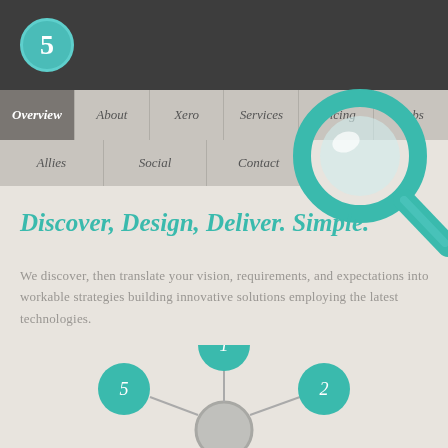5
Overview | About | Xero | Services | Pricing | Labs
Allies | Social | Contact
[Figure (illustration): Teal magnifying glass icon overlapping the navigation area]
Discover, Design, Deliver. Simple.
We discover, then translate your vision, requirements, and expectations into workable strategies building innovative solutions employing the latest technologies.
[Figure (network-graph): Network diagram showing a central grey circle connected to numbered teal circles labeled 1, 2, 3, 4, 5 in a spoke pattern. Circles 3 and 4 are partially visible at bottom.]